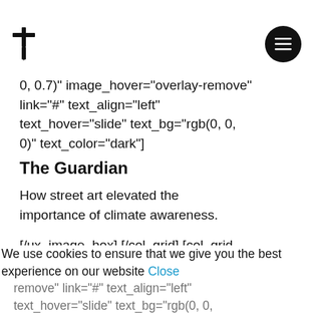[logo icon] [menu button]
0, 0.7)" image_hover="overlay-remove" link="#" text_align="left" text_hover="slide" text_bg="rgb(0, 0, 0)" text_color="dark"]
The Guardian
How street art elevated the importance of climate awareness.
[/ux_image_box] [/col_grid] [col_grid span="4" span__sm="12" height="1-2"] [ux_image_box style="label" img="13642" image_overlay="rgba(24, 59, 121, 0.7)" image_hover="overlay-remove" link="#" text_align="left"
We use cookies to ensure that we give you the best experience on our website Close
text_hover="slide" text_bg="rgb(0, 0,